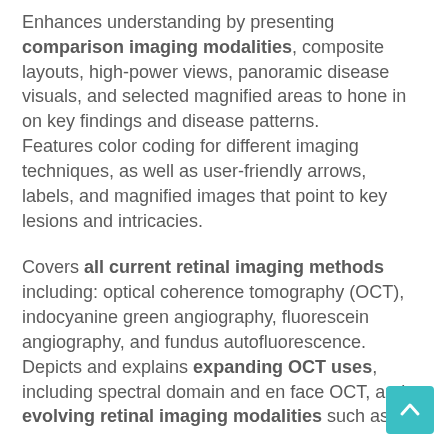Enhances understanding by presenting comparison imaging modalities, composite layouts, high-power views, panoramic disease visuals, and selected magnified areas to hone in on key findings and disease patterns.
Features color coding for different imaging techniques, as well as user-friendly arrows, labels, and magnified images that point to key lesions and intricacies.
Covers all current retinal imaging methods including: optical coherence tomography (OCT), indocyanine green angiography, fluorescein angiography, and fundus autofluorescence.
Depicts and explains expanding OCT uses, including spectral domain and en face OCT, and evolving retinal imaging modalities such as